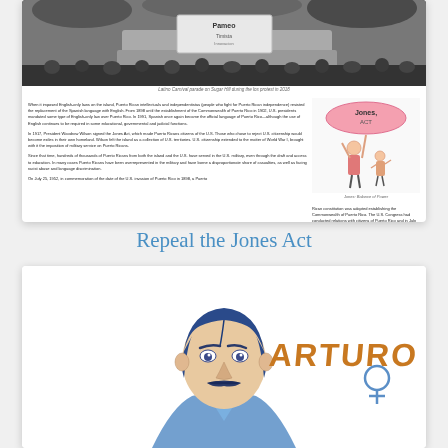[Figure (photo): Black and white photo of a parade float with a sign reading 'Pameo' with crowds visible]
Latino Carnival parade on Sugar Hill during the protest in 2018
When it imposed English-only laws on the island, Puerto Rican intellectuals and independentistas (people who fight for Puerto Rican independence) resisted the replacement of the Spanish language with English. From 1898 until the establishment of the Commonwealth of Puerto Rico in 1952, U.S. presidents mandated some type of English-only law over Puerto Rico. In 1991, Spanish once again became the official language of Puerto Rico—although the use of English continues to be required in some educational, governmental and judicial functions.
In 1917, President Woodrow Wilson signed the Jones Act, which made Puerto Ricans citizens of the U.S. Those who chose to reject U.S. citizenship would become exiles in their own homeland. Wilson felt the island as a collection of U.S. territories. U.S. citizenship extended to the matter of World War I, brought with it the imposition of military service on Puerto Ricans.
Since that time, hundreds of thousands of Puerto Ricans from both the island and the U.S. have served in the U.S. military, even though the draft and access to education. In many cases Puerto Ricans have been overrepresented in the military and have borne a disproportionate share of casualties, as well as facing racist abuse and language discrimination.
On July 25, 1952, in commemoration of the date of the U.S. invasion of Puerto Rico in 1898, a Puerto Rican constitution was adopted establishing the Commonwealth of Puerto Rico. The U.S. Congress had conducted relations with citizens of Puerto Rico and in July 1950, made it the first code built in Puerto Rican law. The Popular Democratic Party continued to govern until 1968, when a growing movement seeking statehood for Puerto Rico won the governor's post.
To this day, Puerto Rico remains a territorial possession of the U.S. Puerto Rico is subject to the
[Figure (illustration): Cartoon illustration of figures holding a Jones Act sign]
Jones: Balance of Power
34 Common Ground Press, Puerto Rico: Understanding Immigration
Repeal the Jones Act
[Figure (illustration): Blue ink illustration of a man's portrait with mustache labeled ARTURO with a female symbol]